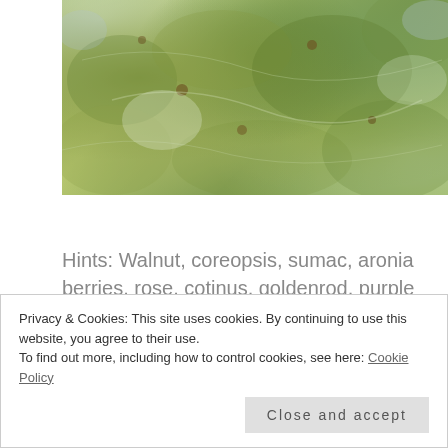[Figure (photo): Close-up photo of plant foliage with green, yellow-green, and muted tones, showing leaves and plant matter]
Hints: Walnut, coreopsis, sumac, aronia berries, rose, cotinus, goldenrod, purple sandcherry.
Until next time,
Privacy & Cookies: This site uses cookies. By continuing to use this website, you agree to their use.
To find out more, including how to control cookies, see here: Cookie Policy
Close and accept